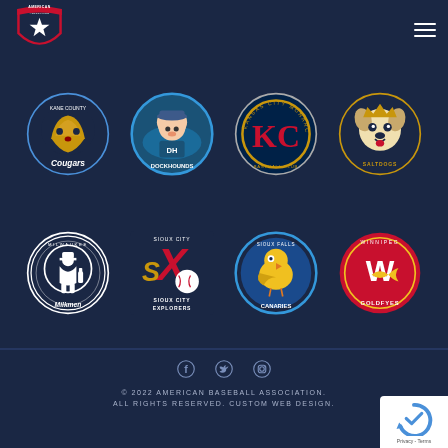[Figure (logo): American Association baseball league logo - red, white, blue shield with star]
[Figure (infographic): Grid of 8 minor league baseball team logos: Kane County Cougars, Green Bay Dockhounds, Kansas City Monarchs, Milwaukee Milkmen, Sioux City Explorers, Sioux Falls Canaries, Winnipeg Goldfishes, and one more team (Railcats/Saltdogs)]
[Figure (infographic): Social media icons: Facebook, Twitter, Instagram]
© 2022 AMERICAN BASEBALL ASSOCIATION. ALL RIGHTS RESERVED. CUSTOM WEB DESIGN.